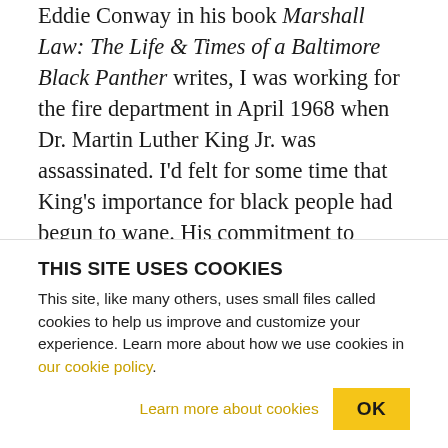Eddie Conway in his book Marshall Law: The Life & Times of a Baltimore Black Panther writes, I was working for the fire department in April 1968 when Dr. Martin Luther King Jr. was assassinated. I'd felt for some time that King's importance for black people had begun to wane. His commitment to nonviolence in the face of such extreme force seemed to have lost its resonance in our community. Black people were tired, angry, and frustrated. The time had come for us to do more than just sing in the streets and march on capitals. Not that we necessarily knew what else to do at the time, but it was certainly clear...
THIS SITE USES COOKIES
This site, like many others, uses small files called cookies to help us improve and customize your experience. Learn more about how we use cookies in our cookie policy.
Learn more about cookies   OK